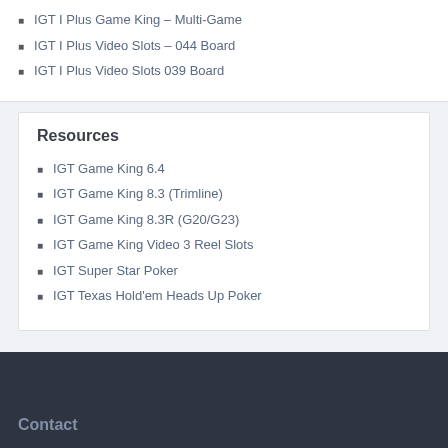IGT I Plus Game King – Multi-Game
IGT I Plus Video Slots – 044 Board
IGT I Plus Video Slots 039 Board
Resources
IGT Game King 6.4
IGT Game King 8.3 (Trimline)
IGT Game King 8.3R (G20/G23)
IGT Game King Video 3 Reel Slots
IGT Super Star Poker
IGT Texas Hold'em Heads Up Poker
Contact